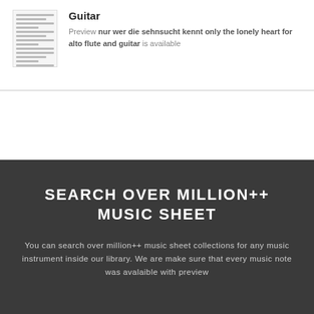Guitar
Preview nur wer die sehnsucht kennt only the lonely heart for alto flute and guitar is available
SEARCH OVER MILLION++ MUSIC SHEET
You can search over million++ music sheet collections for any music instrument inside our library. We are make sure that every music note was avalaible with preview